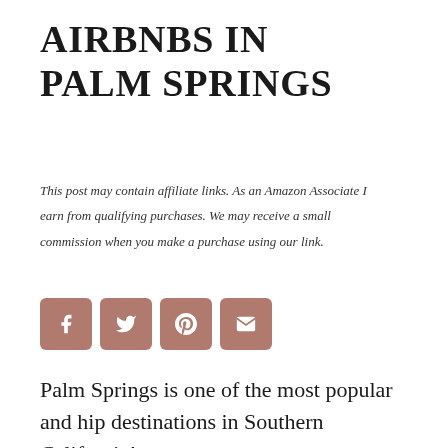AIRBNBS IN PALM SPRINGS
This post may contain affiliate links. As an Amazon Associate I earn from qualifying purchases. We may receive a small commission when you make a purchase using our link.
[Figure (other): Social sharing buttons: Facebook, Twitter, Pinterest, Email]
Palm Springs is one of the most popular and hip destinations in Southern California!